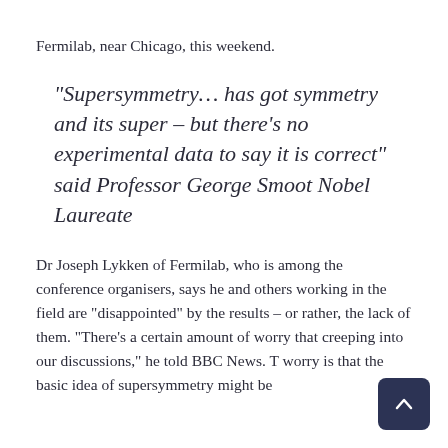Fermilab, near Chicago, this weekend.
“Supersymmetry… has got symmetry and its super – but there’s no experimental data to say it is correct” said Professor George Smoot Nobel Laureate
Dr Joseph Lykken of Fermilab, who is among the conference organisers, says he and others working in the field are “disappointed” by the results – or rather, the lack of them. “There’s a certain amount of worry that creeping into our discussions,” he told BBC News. T worry is that the basic idea of supersymmetry might be